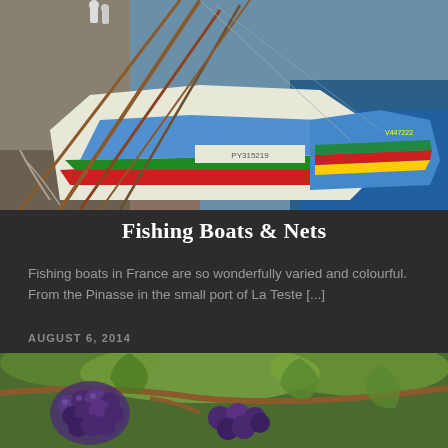[Figure (photo): Colorful fishing boats moored at a dock, showing boats with red, green, blue, and yellow stripes. Blue water visible in the background.]
Fishing Boats & Nets
Fishing boats in France are so wonderfully varied and colourful. From the Pinasse in the small port of La Teste [...]
AUGUST 6, 2014
[Figure (photo): Close-up of dark purple/blue grapes on a vine with green leaves visible in the background.]